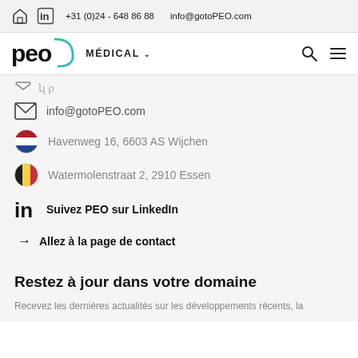+31 (0)24 - 648 86 88   info@gotoPEO.com
[Figure (logo): PEO logo with teal arc and MÉDICAL navigation label, search and hamburger icons]
info@gotoPEO.com
Havenweg 16, 6603 AS Wijchen
Watermolenstraat 2, 2910 Essen
Suivez PEO sur LinkedIn
→  Allez à la page de contact
Restez à jour dans votre domaine
Recevez les dernières actualités sur les développements récents, la